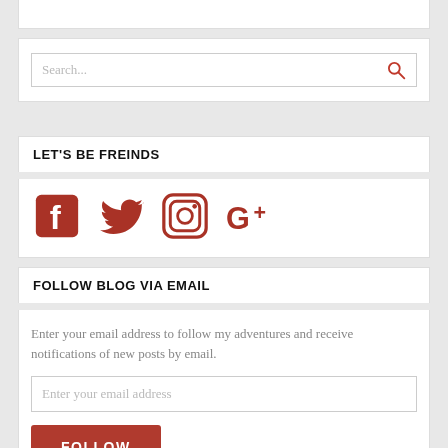[Figure (screenshot): Search bar widget with placeholder text 'Search...' and a red magnifying glass icon]
LET'S BE FREINDS
[Figure (infographic): Social media icons: Facebook, Twitter, Instagram, Google+ in red/dark red color]
FOLLOW BLOG VIA EMAIL
Enter your email address to follow my adventures and receive notifications of new posts by email.
Enter your email address
FOLLOW